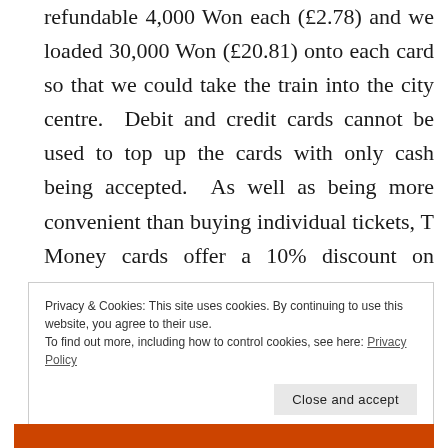refundable 4,000 Won each (£2.78) and we loaded 30,000 Won (£20.81) onto each card so that we could take the train into the city centre. Debit and credit cards cannot be used to top up the cards with only cash being accepted. As well as being more convenient than buying individual tickets, T Money cards offer a 10% discount on regular fares and free transfers between trains and buses within 30 minutes.
Privacy & Cookies: This site uses cookies. By continuing to use this website, you agree to their use.
To find out more, including how to control cookies, see here: Privacy Policy